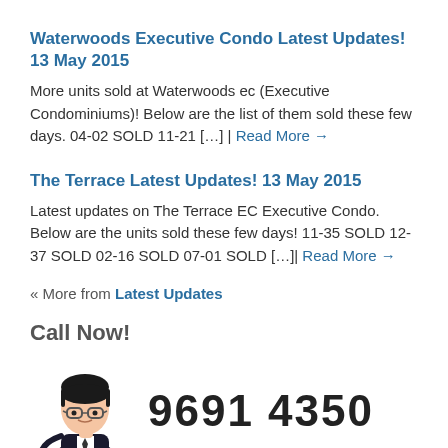Waterwoods Executive Condo Latest Updates! 13 May 2015
More units sold at Waterwoods ec (Executive Condominiums)! Below are the list of them sold these few days. 04-02 SOLD 11-21 […] | Read More →
The Terrace Latest Updates! 13 May 2015
Latest updates on The Terrace EC Executive Condo. Below are the units sold these few days! 11-35 SOLD 12-37 SOLD 02-16 SOLD 07-01 SOLD […] | Read More →
« More from Latest Updates
Call Now!
[Figure (illustration): Cartoon avatar of a man in suit holding a phone, with phone icon]
9691 4350
About My Site
Your One Stop Discovery of all the ECs. Embark on this